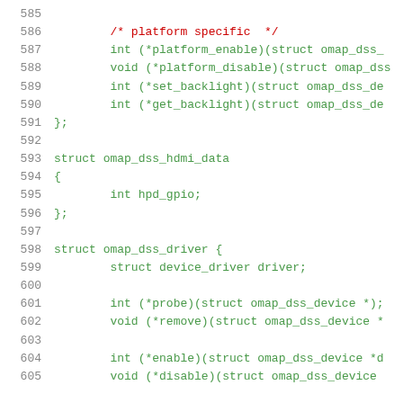Source code listing, lines 585-605, showing C struct definitions for omap_dss_hdmi_data and omap_dss_driver with platform-specific function pointers.